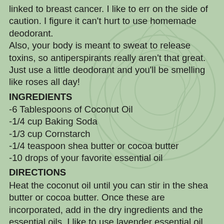linked to breast cancer. I like to err on the side of caution. I figure it can't hurt to use homemade deodorant.
Also, your body is meant to sweat to release toxins, so antiperspirants really aren't that great. Just use a little deodorant and you'll be smelling like roses all day!
INGREDIENTS
-6 Tablespoons of Coconut Oil
-1/4 cup Baking Soda
-1/3 cup Cornstarch
-1/4 teaspoon shea butter or cocoa butter
-10 drops of your favorite essential oil
DIRECTIONS
Heat the coconut oil until you can stir in the shea butter or cocoa butter. Once these are incorporated, add in the dry ingredients and the essential oils. I like to use lavender essential oil because it smells so good! You could also use lemon, sweet orange, or patchouli. Use whatever you like! That's the fun of making your own deodorant.